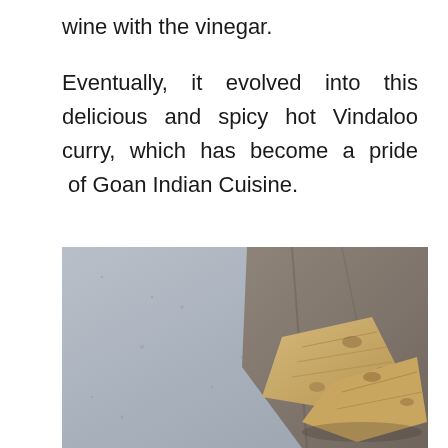wine with the vinegar.
Eventually, it evolved into this delicious and spicy hot Vindaloo curry, which has become a pride of Goan Indian Cuisine.
[Figure (photo): A photo showing flatbread pieces placed on a cloth/linen fabric against a concrete or stone grey surface background.]